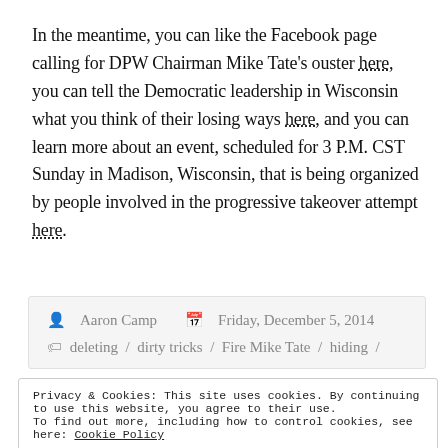In the meantime, you can like the Facebook page calling for DPW Chairman Mike Tate's ouster here, you can tell the Democratic leadership in Wisconsin what you think of their losing ways here, and you can learn more about an event, scheduled for 3 P.M. CST Sunday in Madison, Wisconsin, that is being organized by people involved in the progressive takeover attempt here.
Aaron Camp   Friday, December 5, 2014
deleting / dirty tricks / Fire Mike Tate / hiding /
Privacy & Cookies: This site uses cookies. By continuing to use this website, you agree to their use. To find out more, including how to control cookies, see here: Cookie Policy
Close and accept
Wisconsin Democrats / Wisconsin progressives